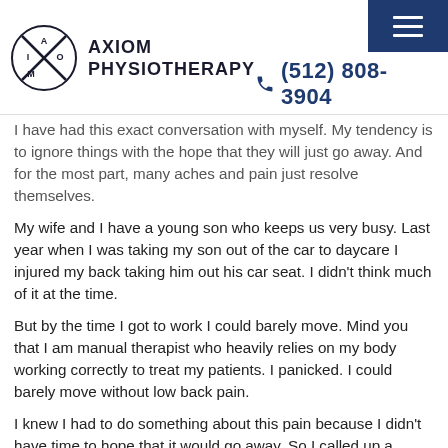AXIOM PHYSIOTHERAPY | (512) 808-3904
I have had this exact conversation with myself. My tendency is to ignore things with the hope that they will just go away. And for the most part, many aches and pain just resolve themselves.
My wife and I have a young son who keeps us very busy. Last year when I was taking my son out of the car to daycare I injured my back taking him out his car seat. I didn't think much of it at the time.
But by the time I got to work I could barely move. Mind you that I am manual therapist who heavily relies on my body working correctly to treat my patients. I panicked. I could barely move without low back pain.
I knew I had to do something about this pain because I didn't have time to hope that it would go away. So I called up a buddy of mine who is a physical therapist to treat my back.
And you know what? It got better right away. It only took